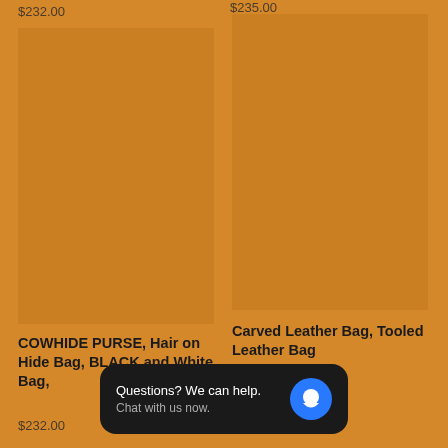$235.00
$232.00
[Figure (photo): Product image placeholder for cowhide purse, amber/golden brown background]
[Figure (photo): Product image placeholder for carved leather bag, amber/golden brown background]
COWHIDE PURSE, Hair on Hide Bag, BLACK and White Bag,
Carved Leather Bag, Tooled Leather Bag
$232.00
$269.99
Questions? We can help. Chat with us now.